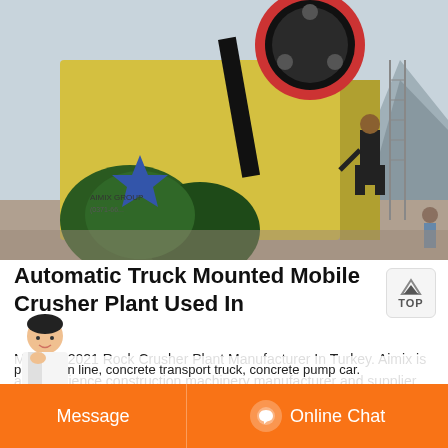[Figure (photo): Industrial jaw crusher plant on a job site with a worker operating machinery. Large green flywheels and yellow housing visible, mountainous terrain in background.]
Automatic Truck Mounted Mobile Crusher Plant Used In
May 30, 2021 Rock Crusher Plant Manufacturer In Turkey. Aimix is an experience construction machinery manufacturer and supplier, which mainly provides concrete batching plant, asphalt mixer plant, concrete pumping equipment, brick making machine, dry mortar production line, concrete transport truck, concrete pump car.